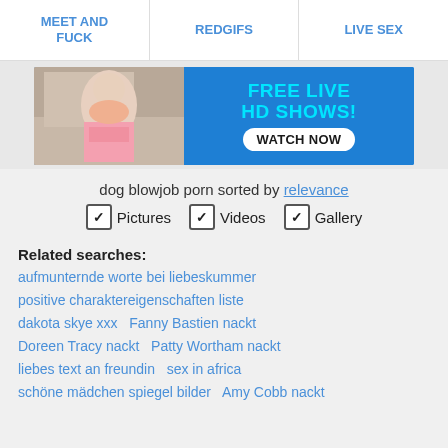MEET AND FUCK | REDGIFS | LIVE SEX
[Figure (photo): Advertising banner: woman in pink bikini on left, blue background with cyan text 'FREE LIVE HD SHOWS!' and white pill button 'WATCH NOW' on right]
dog blowjob porn sorted by relevance
✓ Pictures  ✓ Videos  ✓ Gallery
Related searches:
aufmunternde worte bei liebeskummer
positive charaktereigenschaften liste
dakota skye xxx   Fanny Bastien nackt
Doreen Tracy nackt   Patty Wortham nackt
liebes text an freundin   sex in africa
schöne mädchen spiegel bilder   Amy Cobb nackt